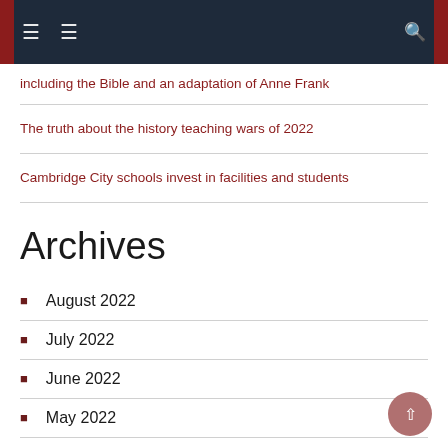Navigation bar with menu icons and search
including the Bible and an adaptation of Anne Frank
The truth about the history teaching wars of 2022
Cambridge City schools invest in facilities and students
Archives
August 2022
July 2022
June 2022
May 2022